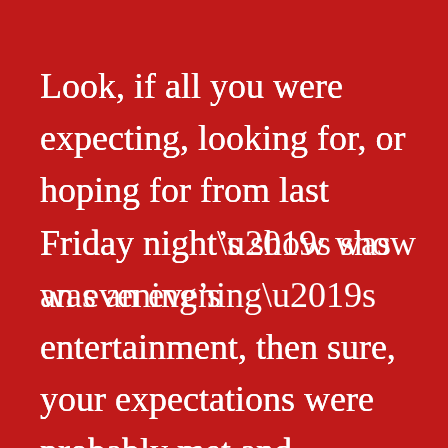Look, if all you were expecting, looking for, or hoping for from last Friday night’s show was an evening’s entertainment, then sure, your expectations were probably met and similarly your hopes fulfilled. But, if you’re